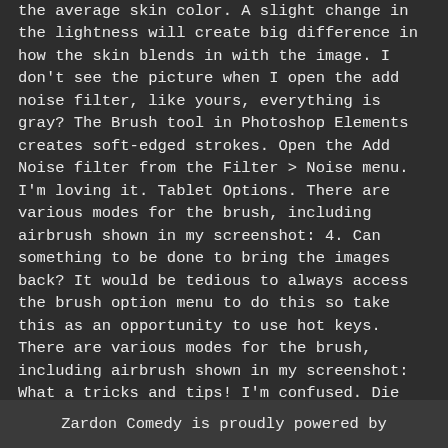the average skin color. A slight change in the lightness will create big difference in how the skin blends in with the image. I don't see the picture when I open the add noise filter, like yours, everything is gray? The Brush tool in Photoshop Elements creates soft-edged strokes. Open the Add Noise filter from the Filter > Noise menu. I'm loving it. Tablet Options. There are various modes for the brush, including airbrush shown in my screenshot: 4. Can something to be done to bring the images back? It would be tedious to always access the brush option menu to do this so take this as an opportunity to use hot keys. There are various modes for the brush, including airbrush shown in my screenshot: What a tricks and tips! I'm confused. Die meisten die sich dort Bildbearbeiter nennen, sind leider eher das Geqenteil davon 1. However, when zoomed in,
Zardon Comedy is proudly powered by